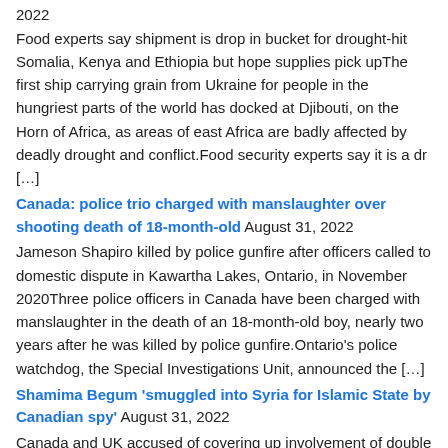2022
Food experts say shipment is drop in bucket for drought-hit Somalia, Kenya and Ethiopia but hope supplies pick upThe first ship carrying grain from Ukraine for people in the hungriest parts of the world has docked at Djibouti, on the Horn of Africa, as areas of east Africa are badly affected by deadly drought and conflict.Food security experts say it is a dr […]
Canada: police trio charged with manslaughter over shooting death of 18-month-old August 31, 2022
Jameson Shapiro killed by police gunfire after officers called to domestic dispute in Kawartha Lakes, Ontario, in November 2020Three police officers in Canada have been charged with manslaughter in the death of an 18-month-old boy, nearly two years after he was killed by police gunfire.Ontario's police watchdog, the Special Investigations Unit, announced the […]
Shamima Begum 'smuggled into Syria for Islamic State by Canadian spy' August 31, 2022
Canada and UK accused of covering up involvement of double agent in British teenager's recruitment for ISAnalysis: Should Shamima Begum be allowed to return to the UK to argue her case?Shamima Begum was